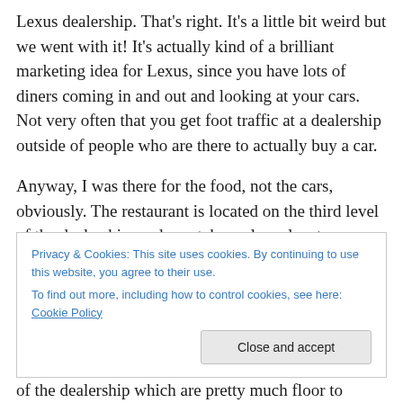Lexus dealership. That's right. It's a little bit weird but we went with it! It's actually kind of a brilliant marketing idea for Lexus, since you have lots of diners coming in and out and looking at your cars. Not very often that you get foot traffic at a dealership outside of people who are there to actually buy a car.
Anyway, I was there for the food, not the cars, obviously. The restaurant is located on the third level of the dealership, and you take a glass elevator up from the ground floor to get there. The size of the restaurant was
Privacy & Cookies: This site uses cookies. By continuing to use this website, you agree to their use.
To find out more, including how to control cookies, see here: Cookie Policy
of the dealership which are pretty much floor to ceiling